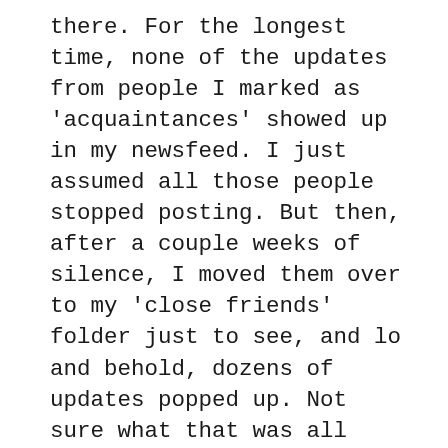there. For the longest time, none of the updates from people I marked as 'acquaintances' showed up in my newsfeed. I just assumed all those people stopped posting. But then, after a couple weeks of silence, I moved them over to my 'close friends' folder just to see, and lo and behold, dozens of updates popped up. Not sure what that was all about. What's the point of creating different folders if some updates show up and others don't? Grr.
There was a thing on Twitter people were retweeting recently. It was about the Leaning Tower of Pisa falling over. I thought, "What?! Did that really